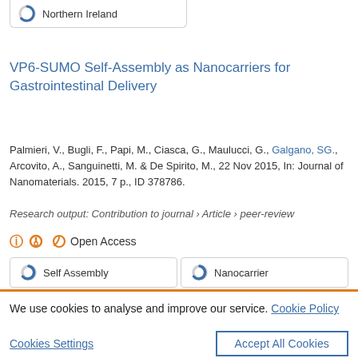[Figure (other): Donut/pie chart icon badge showing 'Northern Ireland' label in a pill-shaped border box at top]
VP6-SUMO Self-Assembly as Nanocarriers for Gastrointestinal Delivery
Palmieri, V., Bugli, F., Papi, M., Ciasca, G., Maulucci, G., Galgano, SG., Arcovito, A., Sanguinetti, M. & De Spirito, M., 22 Nov 2015, In: Journal of Nanomaterials. 2015, 7 p., ID 378786.
Research output: Contribution to journal › Article › peer-review
Open Access
[Figure (other): Two donut chart icon badges side by side: 'Self Assembly' and 'Nanocarrier']
We use cookies to analyse and improve our service. Cookie Policy
Cookies Settings
Accept All Cookies